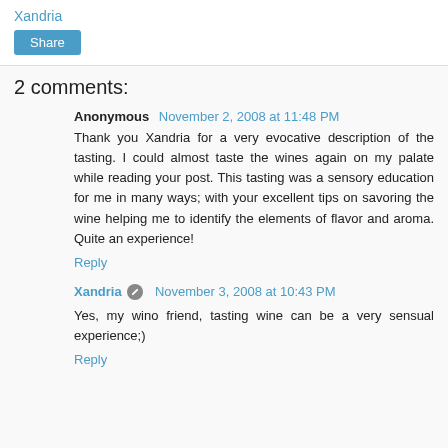Xandria
[Figure (other): Share button - blue rounded rectangle with white 'Share' text]
2 comments:
Anonymous November 2, 2008 at 11:48 PM
Thank you Xandria for a very evocative description of the tasting. I could almost taste the wines again on my palate while reading your post. This tasting was a sensory education for me in many ways; with your excellent tips on savoring the wine helping me to identify the elements of flavor and aroma. Quite an experience!
Reply
Xandria [icon] November 3, 2008 at 10:43 PM
Yes, my wino friend, tasting wine can be a very sensual experience;)
Reply